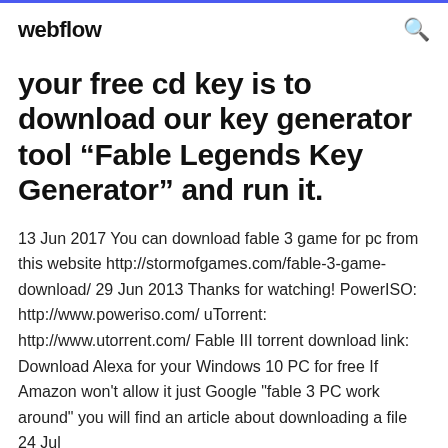webflow
your free cd key is to download our key generator tool “Fable Legends Key Generator” and run it.
13 Jun 2017 You can download fable 3 game for pc from this website http://stormofgames.com/fable-3-game-download/ 29 Jun 2013 Thanks for watching! PowerISO: http://www.poweriso.com/ uTorrent: http://www.utorrent.com/ Fable III torrent download link:  Download Alexa for your Windows 10 PC for free If Amazon won't allow it just Google "fable 3 PC work around" you will find an article about downloading a file  24 Jul